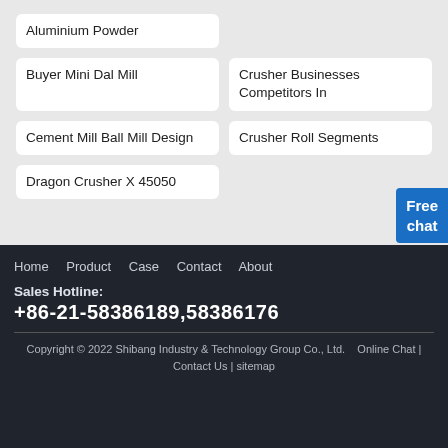Aluminium Powder
Buyer Mini Dal Mill
Crusher Businesses Competitors In
Cement Mill Ball Mill Design
Crusher Roll Segments
Dragon Crusher X 45050
Free chat
Home   Product   Case   Contact   About
Sales Hotline:
+86-21-58386189,58386176
Copyright © 2022 Shibang Industry & Technology Group Co., Ltd.   Online Chat | Contact Us | sitemap
[Figure (other): QR code for website]